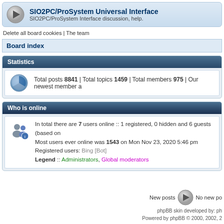[Figure (screenshot): Forum row with arrow icon for SIO2PC/ProSystem Universal Interface]
SIO2PC/ProSystem Universal Interface
SIO2PC/ProSystem Interface discussion, help.
Delete all board cookies | The team
Board index
Statistics
Total posts 8841 | Total topics 1459 | Total members 975 | Our newest member a
Who is online
In total there are 7 users online :: 1 registered, 0 hidden and 6 guests (based on
Most users ever online was 1543 on Mon Nov 23, 2020 5:46 pm
Registered users: Bing [Bot]
Legend :: Administrators, Global moderators
New posts    No new po
phpBB skin developed by: ph
Powered by phpBB © 2000, 2002, 2